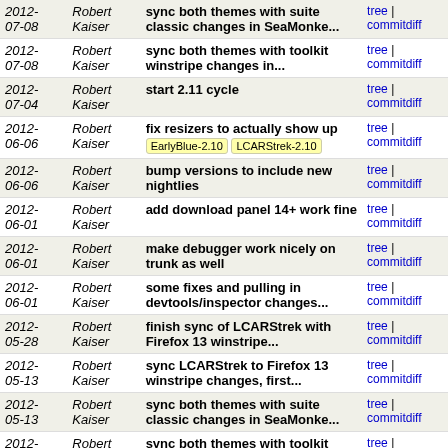| Date | Author | Description | Links |
| --- | --- | --- | --- |
| 2012-07-08 | Robert Kaiser | sync both themes with suite classic changes in SeaMonke... | tree | commitdiff |
| 2012-07-08 | Robert Kaiser | sync both themes with toolkit winstripe changes in... | tree | commitdiff |
| 2012-07-04 | Robert Kaiser | start 2.11 cycle | tree | commitdiff |
| 2012-06-06 | Robert Kaiser | fix resizers to actually show up [EarlyBlue-2.10] [LCARStrek-2.10] | tree | commitdiff |
| 2012-06-06 | Robert Kaiser | bump versions to include new nightlies | tree | commitdiff |
| 2012-06-01 | Robert Kaiser | add download panel 14+ work fine | tree | commitdiff |
| 2012-06-01 | Robert Kaiser | make debugger work nicely on trunk as well | tree | commitdiff |
| 2012-06-01 | Robert Kaiser | some fixes and pulling in devtools/inspector changes... | tree | commitdiff |
| 2012-05-28 | Robert Kaiser | finish sync of LCARStrek with Firefox 13 winstripe... | tree | commitdiff |
| 2012-05-13 | Robert Kaiser | sync LCARStrek to Firefox 13 winstripe changes, first... | tree | commitdiff |
| 2012-05-13 | Robert Kaiser | sync both themes with suite classic changes in SeaMonke... | tree | commitdiff |
| 2012-05-11 | Robert Kaiser | sync both themes with toolkit winstripe changes of... | tree | commitdiff |
| 2012-05-11 | Robert Kaiser | sync DOMi theme with changes in SeaMonkey 2.10 cycle | tree | commitdiff |
| 2012-05- | Robert Kaiser | start 2.10 dev cycles | tree | commitdiff |